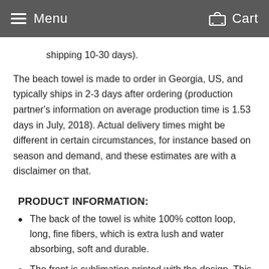Menu  Cart
shipping 10-30 days).
The beach towel is made to order in Georgia, US, and typically ships in 2-3 days after ordering (production partner's information on average production time is 1.53 days in July, 2018). Actual delivery times might be different in certain circumstances, for instance based on season and demand, and these estimates are with a disclaimer on that.
PRODUCT INFORMATION:
The back of the towel is white 100% cotton loop, long, fine fibers, which is extra lush and water absorbing, soft and durable.
The front is sublimation printed with the design. This